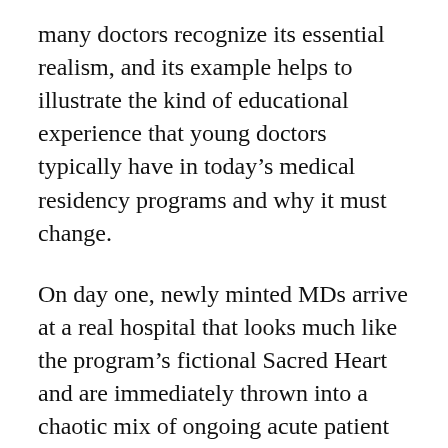many doctors recognize its essential realism, and its example helps to illustrate the kind of educational experience that young doctors typically have in today's medical residency programs and why it must change.
On day one, newly minted MDs arrive at a real hospital that looks much like the program's fictional Sacred Heart and are immediately thrown into a chaotic mix of ongoing acute patient care. At first these young residents often must rely on nurses to teach them how to do the most basic procedures, but as they gain confidence they soon become acculturated to viewing nurses as mere support staff rather than equal members of a team. They learn this